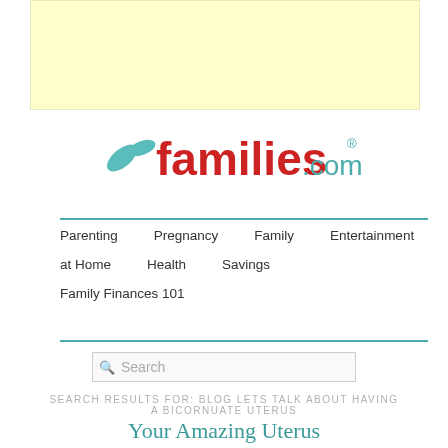[Figure (other): Light yellow advertisement banner rectangle]
[Figure (logo): families.com logo with teal leaf icons on left and red bold text 'families' followed by '.com' in smaller teal text and registered trademark symbol]
Parenting   Pregnancy   Family   Entertainment   at Home   Health   Savings   Family Finances 101
[Figure (other): Search box with magnifying glass icon and placeholder text 'Search']
SEARCH RESULTS FOR: BLOG LETS TALK ABOUT HAVING A BICORNUATE UTERUS
Your Amazing Uterus